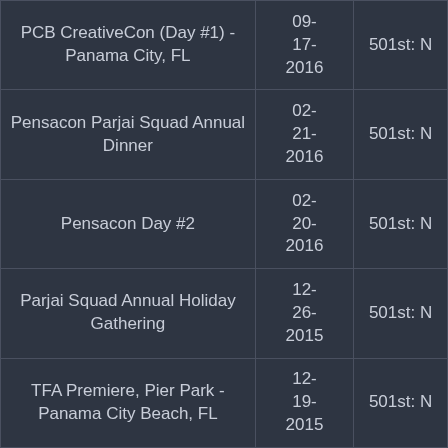| PCB CreativeCon (Day #1) - Panama City, FL | 09-17-2016 | 501st: N |
| Pensacon Parjai Squad Annual Dinner | 02-21-2016 | 501st: N |
| Pensacon Day #2 | 02-20-2016 | 501st: N |
| Parjai Squad Annual Holiday Gathering | 12-26-2015 | 501st: N |
| TFA Premiere, Pier Park - Panama City Beach, FL | 12-19-2015 | 501st: N |